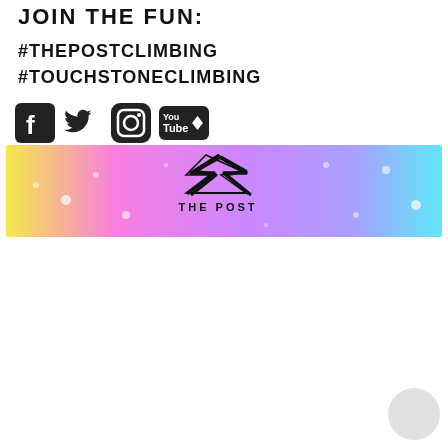JOIN THE FUN:
#THEPOSTCLIMBING
#TOUCHSTONECLIMBING
[Figure (other): Social media icons: Facebook, Twitter, Instagram, YouTube]
[Figure (logo): The Post climbing gym logo banner with gradient background (yellow to pink to purple to cyan) with sparkle effects and bold stylized lightning bolt logo above the text THE POST]